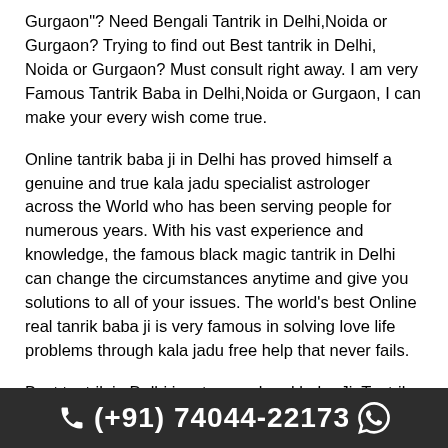Gurgaon"? Need Bengali Tantrik in Delhi,Noida or Gurgaon? Trying to find out Best tantrik in Delhi, Noida or Gurgaon? Must consult right away. I am very Famous Tantrik Baba in Delhi,Noida or Gurgaon, I can make your every wish come true.
Online tantrik baba ji in Delhi has proved himself a genuine and true kala jadu specialist astrologer across the World who has been serving people for numerous years. With his vast experience and knowledge, the famous black magic tantrik in Delhi can change the circumstances anytime and give you solutions to all of your issues. The world's best Online real tanrik baba ji is very famous in solving love life problems through kala jadu free help that never fails.
Best tantrik in Delhi is a true and real baba Ji. Tantrik Knows the art of free...
(+91) 74044-22173